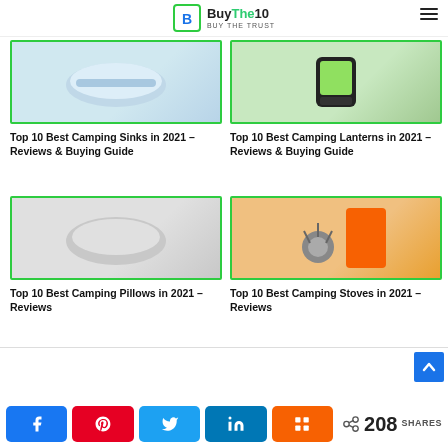BuyThe10 – Buy The Trust
[Figure (photo): Photo of a camping sink product on white background]
Top 10 Best Camping Sinks in 2021 – Reviews & Buying Guide
[Figure (photo): Photo of a camping lantern with green straps on dark background]
Top 10 Best Camping Lanterns in 2021 – Reviews & Buying Guide
[Figure (photo): Photo of a grey camping pillow on white background]
Top 10 Best Camping Pillows in 2021 – Reviews
[Figure (photo): Photo of a camping stove with orange fuel canister]
Top 10 Best Camping Stoves in 2021 – Reviews
208 SHARES | Share buttons: Facebook, Pinterest, Twitter, LinkedIn, Mix